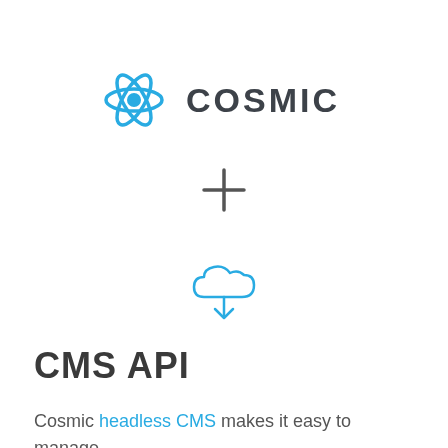[Figure (logo): Cosmic JS logo: blue atomic/molecular icon on the left followed by the text COSMIC in dark gray bold capitals]
[Figure (other): A large plus sign (+) in dark gray, centered on the page]
[Figure (other): A light blue cloud with a downward arrow icon, centered on the page]
CMS API
Cosmic headless CMS makes it easy to manage